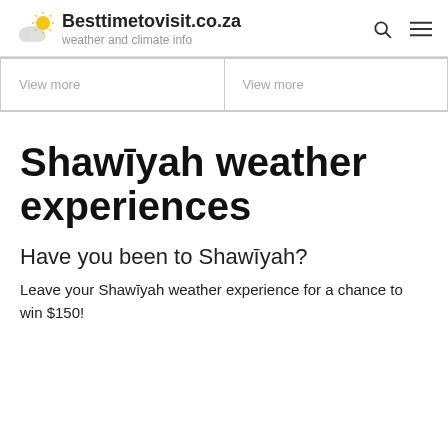Besttimetovisit.co.za — weather and climate info
View more
View more
Shawīyah weather experiences
Have you been to Shawīyah?
Leave your Shawīyah weather experience for a chance to win $150!